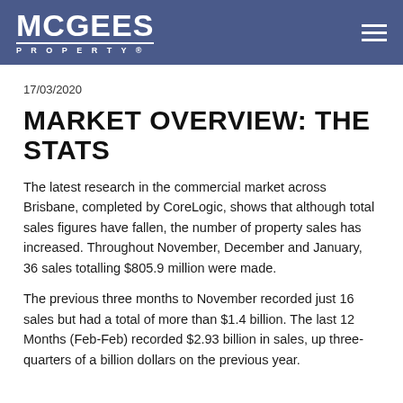McGEES PROPERTY
17/03/2020
MARKET OVERVIEW: THE STATS
The latest research in the commercial market across Brisbane, completed by CoreLogic, shows that although total sales figures have fallen, the number of property sales has increased. Throughout November, December and January, 36 sales totalling $805.9 million were made.
The previous three months to November recorded just 16 sales but had a total of more than $1.4 billion. The last 12 Months (Feb-Feb) recorded $2.93 billion in sales, up three-quarters of a billion dollars on the previous year.